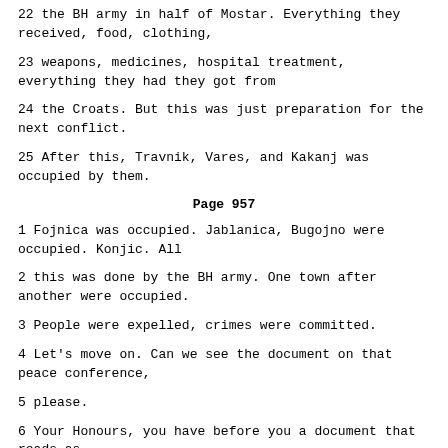22 the BH army in half of Mostar. Everything they received, food, clothing,
23 weapons, medicines, hospital treatment, everything they had they got from
24 the Croats. But this was just preparation for the next conflict.
25 After this, Travnik, Vares, and Kakanj was occupied by them.
Page 957
1 Fojnica was occupied. Jablanica, Bugojno were occupied. Konjic. All
2 this was done by the BH army. One town after another were occupied.
3 People were expelled, crimes were committed.
4 Let's move on. Can we see the document on that peace conference,
5 please.
6 Your Honours, you have before you a document that reads as
7 follows: "Report on the activity of the international conference on the